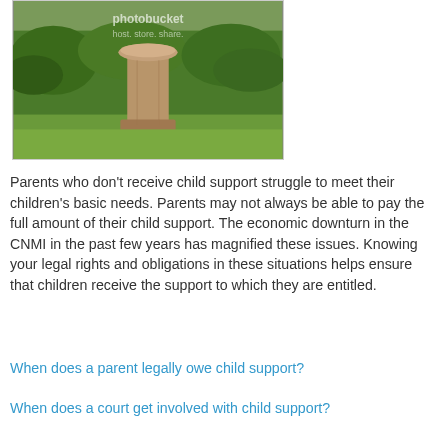[Figure (photo): Outdoor photo of a stone birdbath or pedestal on a green lawn with trees and bushes in the background. A Photobucket watermark is visible overlaid on the image.]
Parents who don't receive child support struggle to meet their children's basic needs. Parents may not always be able to pay the full amount of their child support. The economic downturn in the CNMI in the past few years has magnified these issues. Knowing your legal rights and obligations in these situations helps ensure that children receive the support to which they are entitled.
When does a parent legally owe child support?
When does a court get involved with child support?